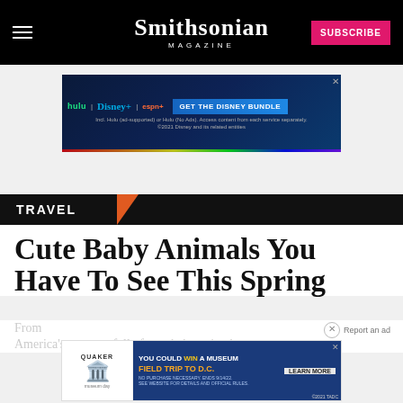Smithsonian MAGAZINE
[Figure (other): Disney Bundle advertisement banner with Hulu, Disney+, ESPN+ logos and 'GET THE DISNEY BUNDLE' call to action]
TRAVEL
Cute Baby Animals You Have To See This Spring
From ... America's zoos are full of new baby animals
[Figure (other): Quaker Museum Day advertisement - YOU COULD WIN A MUSEUM FIELD TRIP TO D.C. LEARN MORE]